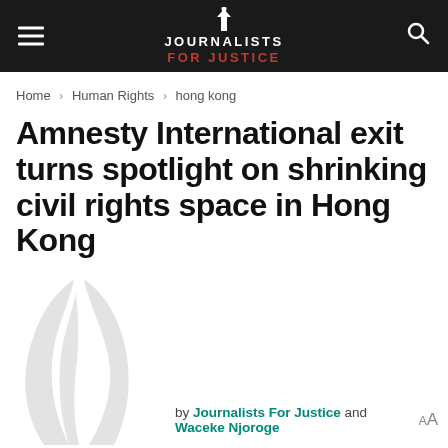Journalists For Justice
Home > Human Rights > hong kong
Amnesty International exit turns spotlight on shrinking civil rights space in Hong Kong
[Figure (logo): Journalists For Justice watermark logo in light grey]
by Journalists For Justice and Waceke Njoroge